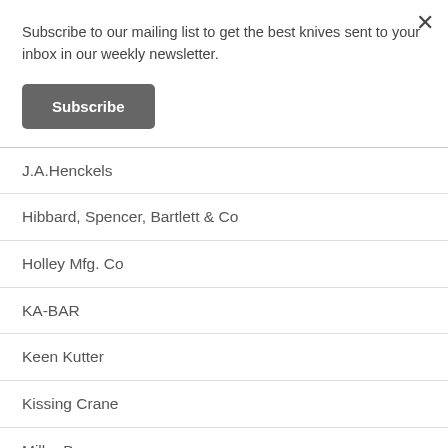Subscribe to our mailing list to get the best knives sent to your inbox in our weekly newsletter.
Subscribe
J.A.Henckels
Hibbard, Spencer, Bartlett & Co
Holley Mfg. Co
KA-BAR
Keen Kutter
Kissing Crane
Miller Bros
New York Knife Co
Pal Cutlery / Blade Co
Primble